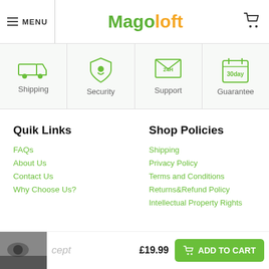MENU | Magoloft
[Figure (infographic): Four feature icons in a row: Shipping (truck icon), Security (shield icon), Support (24H envelope icon), Guarantee (30 day calendar icon)]
Quik Links
FAQs
About Us
Contact Us
Why Choose Us?
Shop Policies
Shipping
Privacy Policy
Terms and Conditions
Returns&Refund Policy
Intellectual Property Rights
£19.99  ADD TO CART